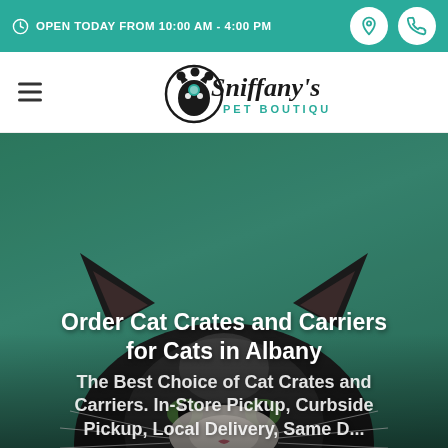OPEN TODAY FROM 10:00 AM - 4:00 PM
[Figure (logo): Sniffany's Pet Boutique logo with paw print and cat silhouette]
[Figure (photo): A black and white cat peeking up from the bottom against a teal/green background]
Order Cat Crates and Carriers for Cats in Albany
The Best Choice of Cat Crates and Carriers. In-Store Pickup, Curbside Pickup, Local Delivery, Same D...